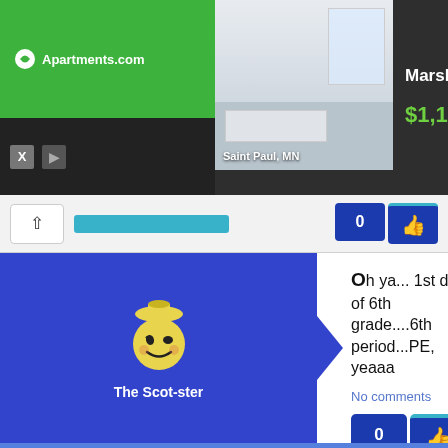[Figure (screenshot): Advertisement banner for Marshall Lofts on Apartments.com, showing a photo of an apartment interior labeled 'Saint Paul, MN', with price $1,100 and a green 'View More' button on dark background.]
[Figure (screenshot): Navigation bar with up arrow button, teal bar, and dark blue like/thumbs-up buttons at top right.]
[Figure (screenshot): Social media post by 'The Scot-ster' with avatar on blue background with arrow pointer. Post text: 'Oh ya... 1st day of 6th grade....6th period...PE, yeaaa'. Shows 'No comments' link and 0 likes button.]
[Figure (screenshot): Partial social media post by 'ChrisDG' with avatar on lighter blue background. Post text begins: 'No, I tend to rein my jaw in. However I have made people so attractive that I couldn't help staring. I'll be totally...']